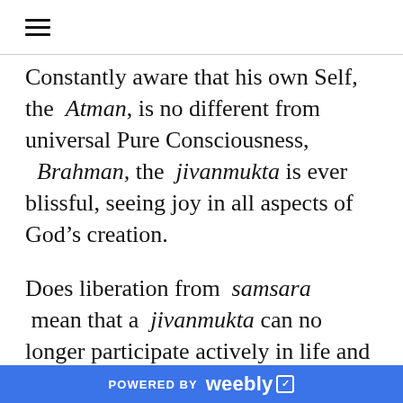☰
Constantly aware that his own Self, the Atman, is no different from universal Pure Consciousness, Brahman, the jivanmukta is ever blissful, seeing joy in all aspects of God's creation.

Does liberation from samsara mean that a jivanmukta can no longer participate actively in life and is condemned to a passive existence? Not at all. Such a person sees the world as it is, not through
POWERED BY weebly